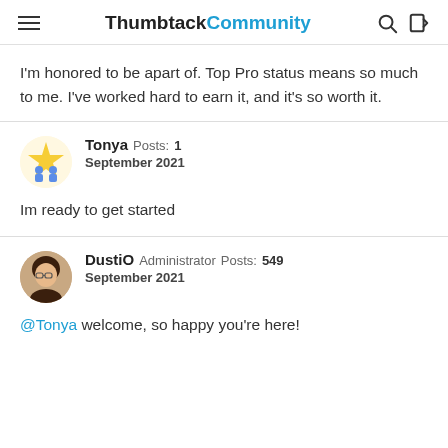Thumbtack Community
I'm honored to be apart of. Top Pro status means so much to me. I've worked hard to earn it, and it's so worth it.
Tonya  Posts: 1  September 2021
Im ready to get started
DustiO  Administrator  Posts: 549  September 2021
@Tonya welcome, so happy you're here!